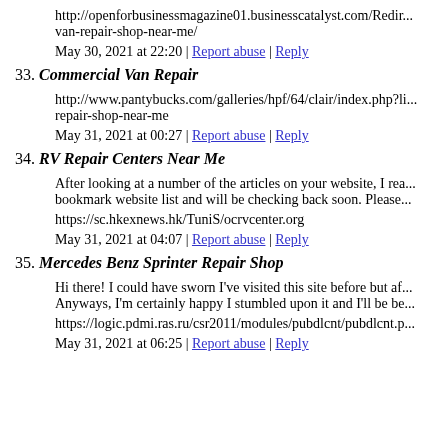http://openforbusinessmagazine01.businesscatalyst.com/Redir... van-repair-shop-near-me/
May 30, 2021 at 22:20 | Report abuse | Reply
33. Commercial Van Repair
http://www.pantybucks.com/galleries/hpf/64/clair/index.php?li... repair-shop-near-me
May 31, 2021 at 00:27 | Report abuse | Reply
34. RV Repair Centers Near Me
After looking at a number of the articles on your website, I rea... bookmark website list and will be checking back soon. Please...
https://sc.hkexnews.hk/TuniS/ocrvcenter.org
May 31, 2021 at 04:07 | Report abuse | Reply
35. Mercedes Benz Sprinter Repair Shop
Hi there! I could have sworn I've visited this site before but af... Anyways, I'm certainly happy I stumbled upon it and I'll be be...
https://logic.pdmi.ras.ru/csr2011/modules/pubdlcnt/pubdlcnt.p...
May 31, 2021 at 06:25 | Report abuse | Reply